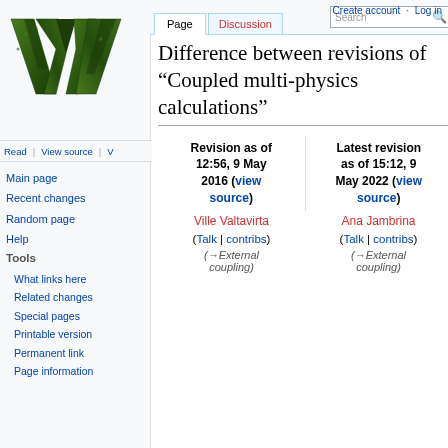Create account  Log in
[Figure (logo): Wikipedia logo - large stylized green and black W]
Read  View source  V  More  Search
Difference between revisions of "Coupled multi-physics calculations"
Main page
Recent changes
Random page
Help
Tools
What links here
Related changes
Special pages
Printable version
Permanent link
Page information
| Revision as of 12:56, 9 May 2016 (view source) | Latest revision as of 15:12, 9 May 2022 (view source) |
| --- | --- |
| Ville Valtavirta | Ana Jambrina |
| (Talk | contribs) | (Talk | contribs) |
| (→External coupling) | (→External coupling) |